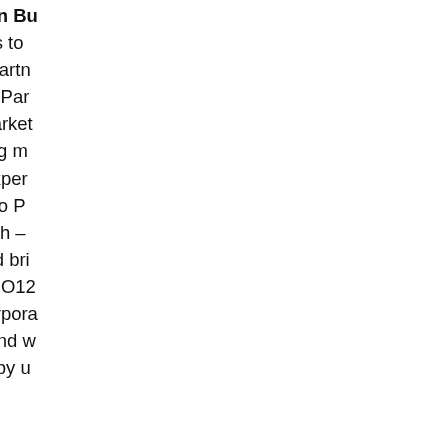Our third Small Green Bu climate neutral thanks to powered by ClimatePartn Markus of Wellington Par includes many big market water or efficiency. Big m money and absorb exper mistakes. According to P good at basic research – bad at application and br global markets. At ECO12 startups, VCs and corpor Green Innovation. And w Ecosummit powered by u begin! Read more